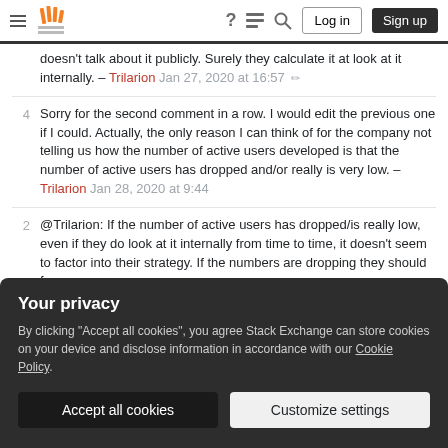Stack Exchange navigation bar with hamburger menu, logo, help, chat, search icons, Log in and Sign up buttons
doesn't talk about it publicly. Surely they calculate it at look at it internally. – Trilarion Jan 27, 2020 at 16:57
4  Sorry for the second comment in a row. I would edit the previous one if I could. Actually, the only reason I can think of for the company not telling us how the number of active users developed is that the number of active users has dropped and/or really is very low. – Trilarion Jan 28, 2020 at 9:44
2  @Trilarion: If the number of active users has dropped/is really low, even if they do look at it internally from time to time, it doesn't seem to factor into their strategy. If the numbers are dropping they should focus
Your privacy
By clicking "Accept all cookies", you agree Stack Exchange can store cookies on your device and disclose information in accordance with our Cookie Policy.
Accept all cookies  Customize settings